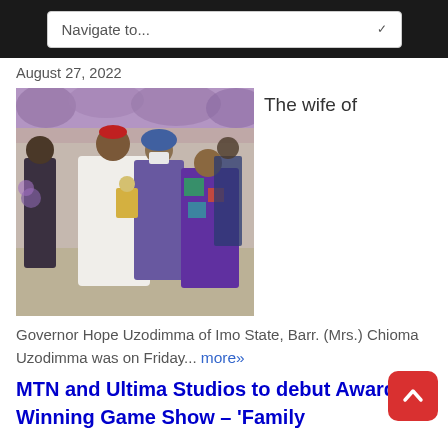Navigate to...
August 27, 2022
[Figure (photo): Governor Hope Uzodimma of Imo State presenting an award/trophy to an elderly woman in colorful attire; a woman wearing a mask stands between them. Event backdrop with purple draping.]
The wife of
Governor Hope Uzodimma of Imo State, Barr. (Mrs.) Chioma Uzodimma was on Friday... more»
MTN and Ultima Studios to debut Award-Winning Game Show – 'Family